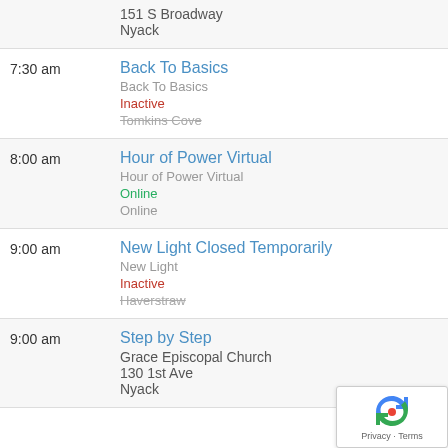151 S Broadway
Nyack
7:30 am
Back To Basics
Back To Basics
Inactive
Tomkins Cove
8:00 am
Hour of Power Virtual
Hour of Power Virtual
Online
Online
9:00 am
New Light Closed Temporarily
New Light
Inactive
Haverstraw
9:00 am
Step by Step
Grace Episcopal Church
130 1st Ave
Nyack